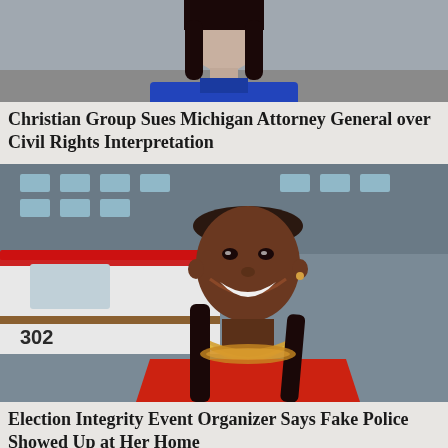[Figure (photo): Partial photo of a person with dark hair wearing a blue top, cropped at the top of the page]
Christian Group Sues Michigan Attorney General over Civil Rights Interpretation
[Figure (photo): Smiling Black woman with gold necklace wearing a red top, with police or emergency vehicle visible in background]
Election Integrity Event Organizer Says Fake Police Showed Up at Her Home